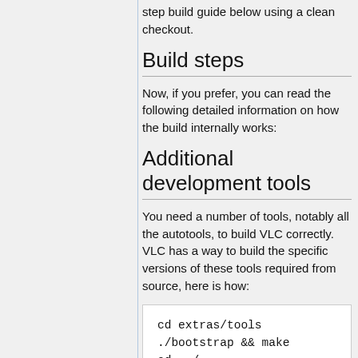step build guide below using a clean checkout.
Build steps
Now, if you prefer, you can read the following detailed information on how the build internally works:
Additional development tools
You need a number of tools, notably all the autotools, to build VLC correctly. VLC has a way to build the specific versions of these tools required from source, here is how:
cd extras/tools
./bootstrap && make
cd ../..